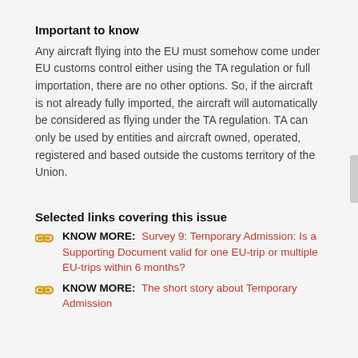Important to know
Any aircraft flying into the EU must somehow come under EU customs control either using the TA regulation or full importation, there are no other options. So, if the aircraft is not already fully imported, the aircraft will automatically be considered as flying under the TA regulation. TA can only be used by entities and aircraft owned, operated, registered and based outside the customs territory of the Union.
Selected links covering this issue
KNOW MORE: Survey 9: Temporary Admission: Is a Supporting Document valid for one EU-trip or multiple EU-trips within 6 months?
KNOW MORE: The short story about Temporary Admission